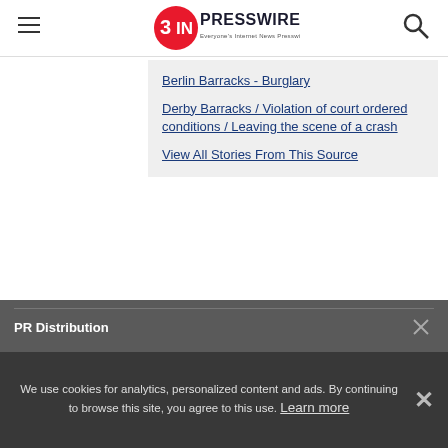EINPresswire - Everyone's Internet News Presswire
Berlin Barracks - Burglary
Derby Barracks / Violation of court ordered conditions / Leaving the scene of a crash
View All Stories From This Source
PR Distribution
We use cookies for analytics, personalized content and ads. By continuing to browse this site, you agree to this use. Learn more